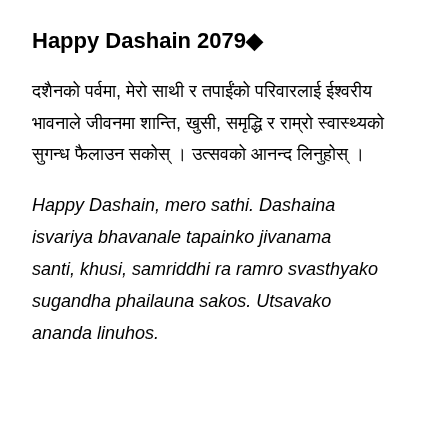Happy Dashain 2079�
दशैनको पर्वमा, मेरो साथी र तपाईंको परिवारलाई ईश्वरीय भावनाले जीवनमा शान्ति, खुसी, समृद्धि र राम्रो स्वास्थ्यको सुगन्ध फैलाउन सकोस् । उत्सवको आनन्द लिनुहोस् ।
Happy Dashain, mero sathi. Dashaina isvariya bhavanale tapainko jivanama santi, khusi, samriddhi ra ramro svasthyako sugandha phailauna sakos. Utsavako ananda linuhos.